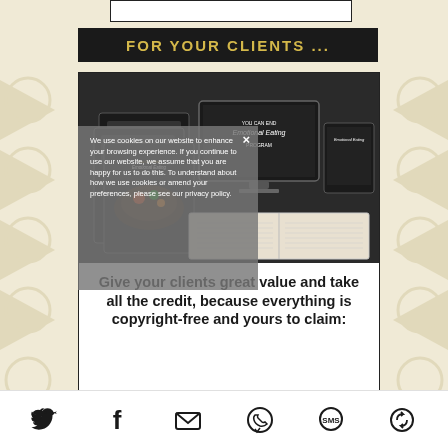FOR YOUR CLIENTS ...
[Figure (photo): Product mockup showing 'You Can End Emotional Eating' program materials including books, food diary, vegan option, recipes booklets, a computer monitor displaying the program, and an open workbook/journal]
We use cookies on our website to enhance your browsing experience. If you continue to use our website, we assume that you are happy for us to do this. To understand about how we use cookies or amend your preferences, please see our privacy policy.
Give your clients great value and take all the credit, because everything is copyright-free and yours to claim:
[Figure (infographic): Social media sharing footer icons: Twitter bird, Facebook f, Email envelope, WhatsApp phone, SMS speech bubble, and a circular refresh/share icon]